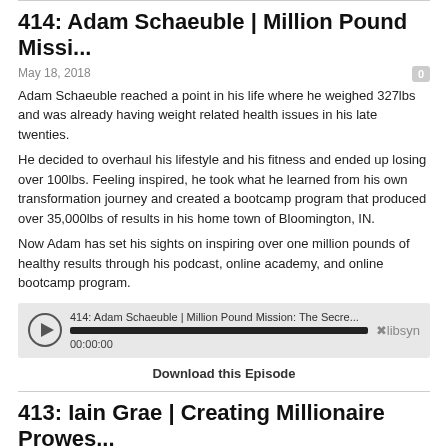414: Adam Schaeuble | Million Pound Missi...
May 18, 2018
Adam Schaeuble reached a point in his life where he weighed 327lbs and was already having weight related health issues in his late twenties.
He decided to overhaul his lifestyle and his fitness and ended up losing over 100lbs. Feeling inspired, he took what he learned from his own transformation journey and created a bootcamp program that produced over 35,000lbs of results in his home town of Bloomington, IN.
Now Adam has set his sights on inspiring over one million pounds of healthy results through his podcast, online academy, and online bootcamp program.
[Figure (other): Audio player widget showing episode '414: Adam Schaeuble | Million Pound Mission: The Secre...' with play button, progress bar, timestamp 00:00:00, and libsyn logo]
Download this Episode
413: Iain Grae | Creating Millionaire Prowes...
May 15, 2018
Iain has spoken worked in groups as small as six and spoken to groups of